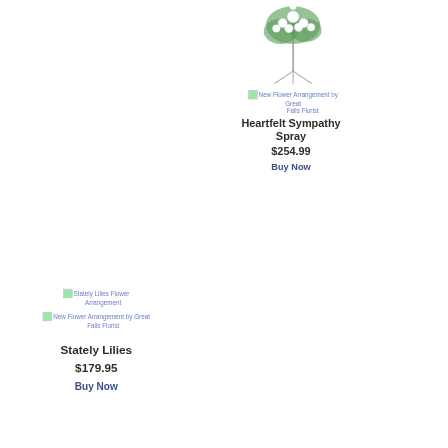[Figure (photo): Flower spray arrangement on a stand, white flowers with green foliage]
[Figure (photo): Broken image icon with alt text: New Flower Arrangement by Great Falls Florist]
Heartfelt Sympathy Spray
$254.99
Buy Now
[Figure (photo): Broken image icon with alt text: Stately Lilies Flower Arrangement]
[Figure (photo): Broken image icon with alt text: New Flower Arrangement by Great Falls Florist]
Stately Lilies
$179.95
Buy Now